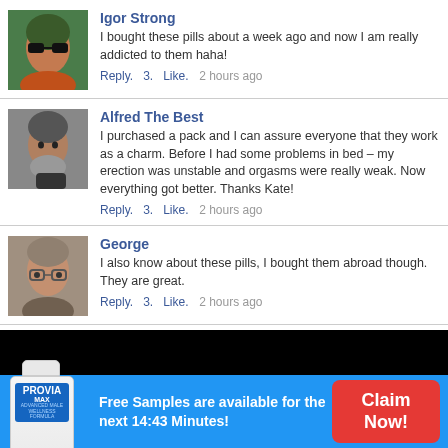Igor Strong
I bought these pills about a week ago and now I am really addicted to them haha!
Reply.   3.   Like.   2 hours ago
Alfred The Best
I purchased a pack and I can assure everyone that they work as a charm. Before I had some problems in bed – my erection was unstable and orgasms were really weak. Now everything got better. Thanks Kate!
Reply.   3.   Like.   2 hours ago
George
I also know about these pills, I bought them abroad though. They are great.
Reply.   3.   Like.   2 hours ago
[Figure (photo): Product advertisement banner for PROVIA MAX with a pill bottle, blue background, and a red Claim Now button. Text reads: Free Samples are available for the next 14:43 Minutes!]